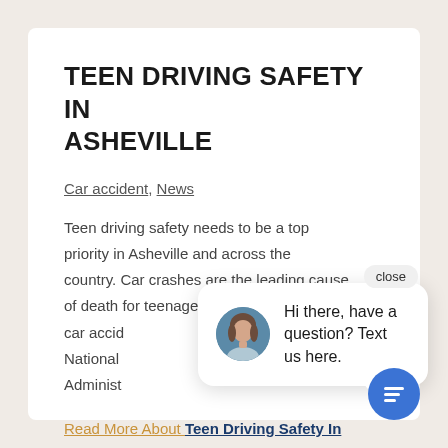TEEN DRIVING SAFETY IN ASHEVILLE
Car accident, News
Teen driving safety needs to be a top priority in Asheville and across the country. Car crashes are the leading cause of death for teenagers. Thankfully, most car acci... National... Administ...
Read More About Teen Driving Safety In Asheville
[Figure (other): Chat popup widget with avatar of a woman and text 'Hi there, have a question? Text us here.' with a close button and a blue circular chat button]